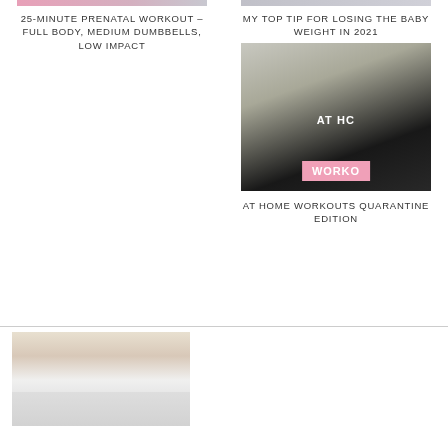[Figure (photo): Cropped top of prenatal workout thumbnail image]
25-MINUTE PRENATAL WORKOUT – FULL BODY, MEDIUM DUMBBELLS, LOW IMPACT
[Figure (photo): Cropped top of baby weight article thumbnail image]
MY TOP TIP FOR LOSING THE BABY WEIGHT IN 2021
[Figure (photo): Woman doing at-home workout exercise in plank/crawl position with text overlay 'AT HC' and 'WORKO' on pink banner]
AT HOME WORKOUTS QUARANTINE EDITION
[Figure (photo): Woman standing in kitchen, smiling, with partially visible lower section showing food/box]